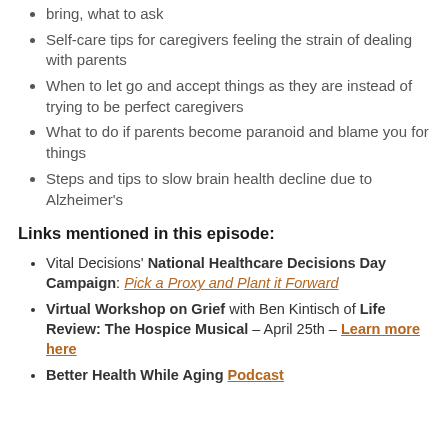bring, what to ask
Self-care tips for caregivers feeling the strain of dealing with parents
When to let go and accept things as they are instead of trying to be perfect caregivers
What to do if parents become paranoid and blame you for things
Steps and tips to slow brain health decline due to Alzheimer's
Links mentioned in this episode:
Vital Decisions' National Healthcare Decisions Day Campaign: Pick a Proxy and Plant it Forward
Virtual Workshop on Grief with Ben Kintisch of Life Review: The Hospice Musical – April 25th – Learn more here
Better Health While Aging Podcast